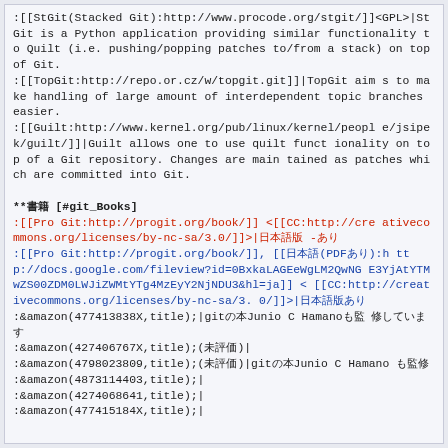:[[StGit(Stacked Git):http://www.procode.org/stgit/]]<GPL>|StGit is a Python application providing similar functionality to Quilt (i.e. pushing/popping patches to/from a stack) on top of Git.
:[[TopGit:http://repo.or.cz/w/topgit.git]]|TopGit aims to make handling of large amount of interdependent topic branches easier.
:[[Guilt:http://www.kernel.org/pub/linux/kernel/people/jsipek/guilt/]]|Guilt allows one to use quilt functionality on top of a Git repository. Changes are maintained as patches which are committed into Git.
**書籍 [#git_Books]
:[[Pro Git:http://progit.org/book/]] <[[CC:http://creativecommons.org/licenses/by-nc-sa/3.0/]]>|日本語版-あり
:[[Pro Git:http://progit.org/book/]], [[日本語(PDFあり):http://docs.google.com/fileview?id=0BxkaLAGEeWgLM2QwNGE3YjAtYTMwZS00ZDM0LWJiZWMtYTg4MzEyY2NjNDU3&hl=ja]] <[[CC:http://creativecommons.org/licenses/by-nc-sa/3.0/]]>|日本語版あり
:&amazon(477413838X,title);|gitの本Junio C Hamanoも監修しています
:&amazon(427406767X,title);(未評価)|
:&amazon(4798023809,title);(未評価)|gitの本Junio C Hamanoも監修
:&amazon(4873114403,title);|
:&amazon(4274068641,title);|
:&amazon(477415184X,title);|